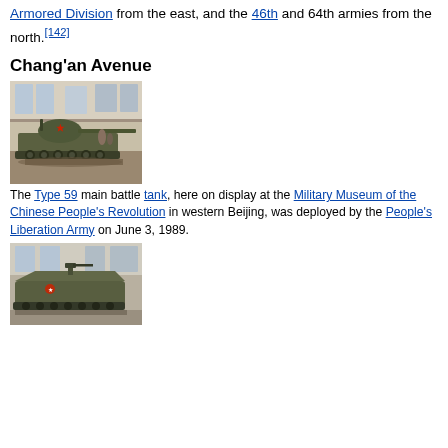Armored Division from the east, and the 46th and 64th armies from the north.[142]
Chang'an Avenue
[Figure (photo): A Type 59 main battle tank on display inside a museum, olive green color with a red star emblem, long gun barrel pointing right.]
The Type 59 main battle tank, here on display at the Military Museum of the Chinese People's Revolution in western Beijing, was deployed by the People's Liberation Army on June 3, 1989.
[Figure (photo): A military armored vehicle (APC or IFV) on display inside a museum, olive green, with a small gun mount on top and a red emblem on the hull.]